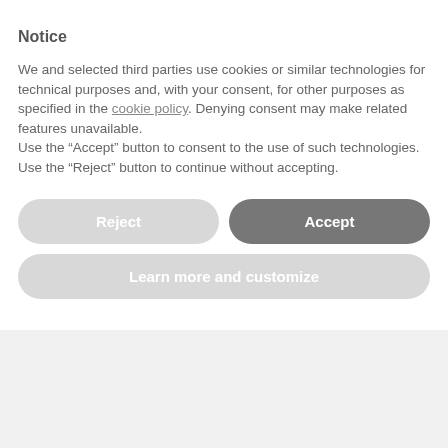Notice
We and selected third parties use cookies or similar technologies for technical purposes and, with your consent, for other purposes as specified in the cookie policy. Denying consent may make related features unavailable.
Use the “Accept” button to consent to the use of such technologies. Use the “Reject” button to continue without accepting.
Reject
Accept
Learn more and customize